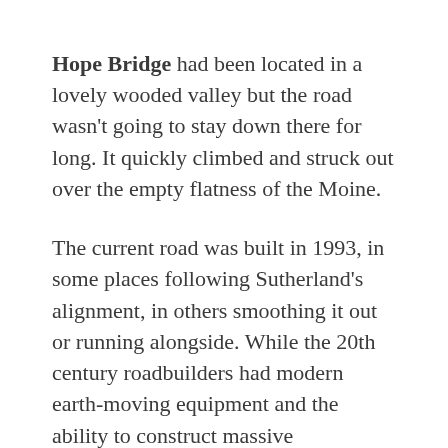Hope Bridge had been located in a lovely wooded valley but the road wasn't going to stay down there for long. It quickly climbed and struck out over the empty flatness of the Moine.
The current road was built in 1993, in some places following Sutherland's alignment, in others smoothing it out or running alongside. While the 20th century roadbuilders had modern earth-moving equipment and the ability to construct massive embankments, Sutherland and his road surveyor, Peter Lawson, needed to be rather more inventive. They chose to build on top of huge bundles of